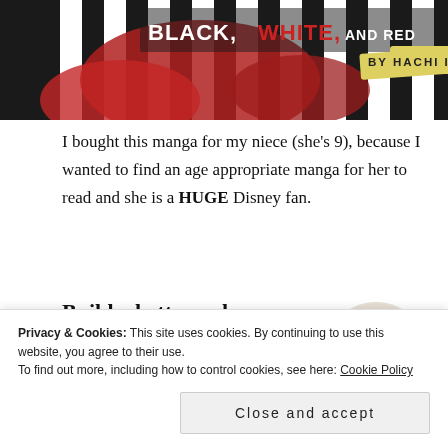[Figure (illustration): Top portion of a manga book cover showing 'Black, White, and Red' by Hachi Ishie, with illustrated red-haired character against black and white striped background]
I bought this manga for my niece (she's 9), because I wanted to find an age appropriate manga for her to read and she is a HUGE Disney fan.
[Figure (infographic): Advertisement with bold text 'Build a better web and a better world.' with a blue Apply button and a circular photo of a man thinking]
Privacy & Cookies: This site uses cookies. By continuing to use this website, you agree to their use.
To find out more, including how to control cookies, see here: Cookie Policy
Close and accept